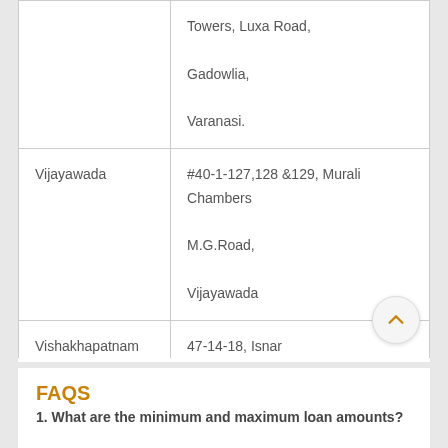| City | Address |
| --- | --- |
|  | Towers, Luxa Road,
Gadowlia,
Varanasi. |
| Vijayawada | #40-1-127,128 &129, Murali Chambers M.G.Road,
Vijayawada |
| Vishakhapatnam | 47-14-18, Isnar Satyasri Complex, Main Road,
Dwarkanagar,
Vishakhapatnam. |
FAQS
1. What are the minimum and maximum loan amounts?